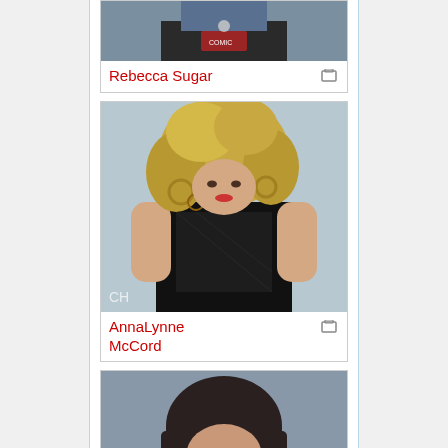[Figure (photo): Partial photo of Rebecca Sugar at Comic-Con, cropped at top]
Rebecca Sugar
[Figure (photo): Photo of AnnaLynne McCord in a black outfit with curly blonde hair]
AnnaLynne McCord
[Figure (photo): Photo of Mara Wilson speaking at a microphone]
Mara Wilson